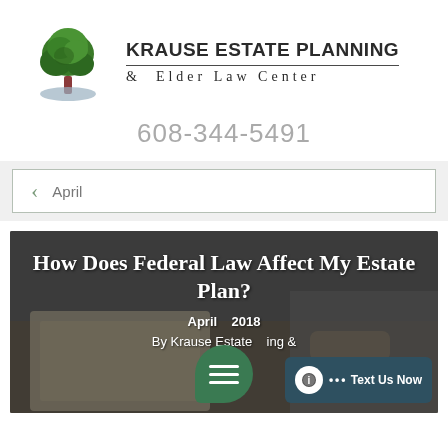[Figure (logo): Krause Estate Planning & Elder Law Center logo with green tree and path]
KRAUSE ESTATE PLANNING & Elder Law Center
608-344-5491
< April
[Figure (photo): Background photo of people signing documents, overlaid with article title 'How Does Federal Law Affect My Estate Plan?' dated April 2018, by Krause Estate Planning &]
How Does Federal Law Affect My Estate Plan?
April 2018
By Krause Estate Planning &